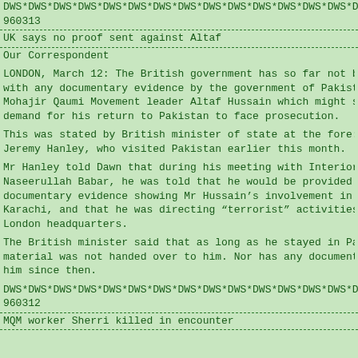DWS*DWS*DWS*DWS*DWS*DWS*DWS*DWS*DWS*DWS*DWS*DWS*DWS*DWS*DWS*
960313
UK says no proof sent against Altaf
Our Correspondent
LONDON, March 12: The British government has so far not been provided with any documentary evidence by the government of Pakistan against Mohajir Qaumi Movement leader Altaf Hussain which might support its demand for his return to Pakistan to face prosecution.
This was stated by British minister of state at the foreign office, Jeremy Hanley, who visited Pakistan earlier this month.
Mr Hanley told Dawn that during his meeting with Interior Minister Naseerullah Babar, he was told that he would be provided with documentary evidence showing Mr Hussain’s involvement in violence in Karachi, and that he was directing “terrorist” activities from his London headquarters.
The British minister said that as long as he stayed in Pakistan the material was not handed over to him. Nor has any document been sent to him since then.
DWS*DWS*DWS*DWS*DWS*DWS*DWS*DWS*DWS*DWS*DWS*DWS*DWS*DWS*DWS*D
960312
MQM worker Sherri killed in encounter